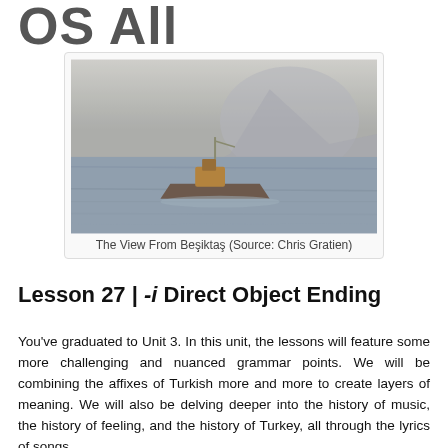OS All
[Figure (photo): A ship on hazy water with a large rocky mountain (resembling the Rock of Gibraltar or a similar promontory) visible in the misty background. View from Beşiktaş.]
The View From Beşiktaş (Source: Chris Gratien)
Lesson 27 | -i Direct Object Ending
You've graduated to Unit 3. In this unit, the lessons will feature some more challenging and nuanced grammar points. We will be combining the affixes of Turkish more and more to create layers of meaning. We will also be delving deeper into the history of music, the history of feeling, and the history of Turkey, all through the lyrics of songs.